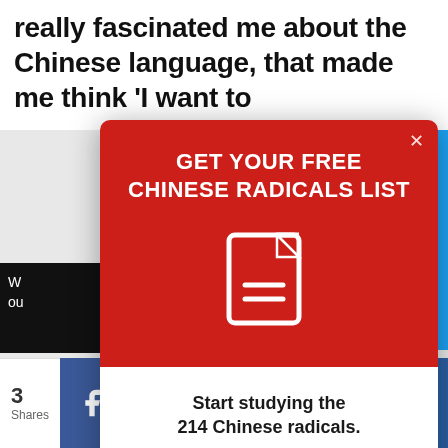really fascinated me about the Chinese language, that made me think ‘I want to
[Figure (screenshot): A modal popup with red header reading 'GET YOUR FREE CHINESE RADICALS LIST' with a document icon, and white bottom section with bold text 'Start studying the 214 Chinese radicals.' and gray text 'Sign up to get the list sent to your inbox.']
Start studying the 214 Chinese radicals.
Sign up to get the list sent to your inbox.
3
Shares